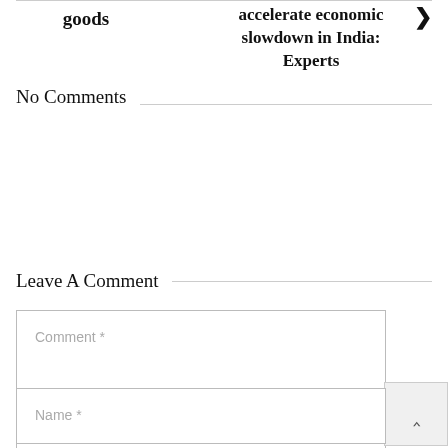goods
accelerate economic slowdown in India: Experts
No Comments
Leave A Comment
Comment *
Name *